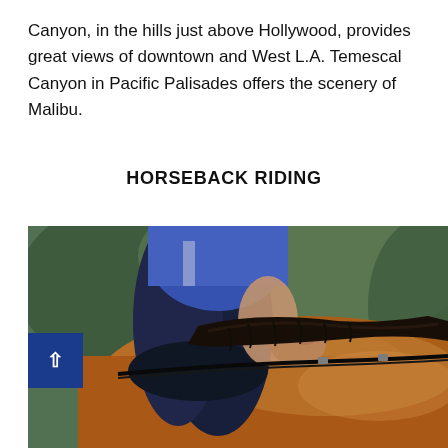Canyon, in the hills just above Hollywood, provides great views of downtown and West L.A. Temescal Canyon in Pacific Palisades offers the scenery of Malibu.
HORSEBACK RIDING
[Figure (photo): Close-up photo of a person in dark navy riding pants and blue top sitting on a brown horse, gripping the horse's mane with their hand. A black bridle/rein is visible. The background is blurred greenery.]